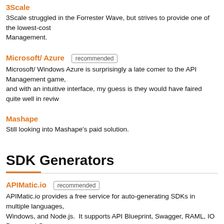3Scale
3Scale struggled in the Forrester Wave, but strives to provide one of the lowest-cost API Management.
Microsoft/ Azure recommended
Microsoft/ Windows Azure is surprisingly a late comer to the API Management game, and with an intuitive interface, my guess is they would have faired quite well in revi...
Mashape
Still looking into Mashape's paid solution.
SDK Generators
APIMatic.io recommended
APIMatic.io provides a free service for auto-generating SDKs in multiple languages, Windows, and Node.js. It supports API Blueprint, Swagger, RAML, IO Docs, and G... available SDKs in its searchable directory.
REST United
REST Unite, currently in beta provides a free service for generating SDKs in PHP, Objective-C, Scala, and Java. It currently supports Postman, Alpaca, Swagger...